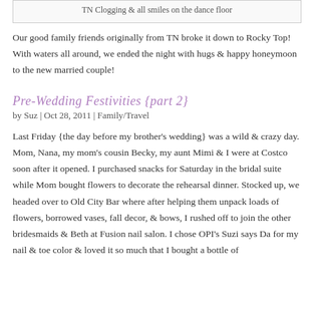TN Clogging & all smiles on the dance floor
Our good family friends originally from TN broke it down to Rocky Top! With waters all around, we ended the night with hugs & happy honeymoon to the new married couple!
Pre-Wedding Festivities {part 2}
by Suz | Oct 28, 2011 | Family/Travel
Last Friday {the day before my brother's wedding} was a wild & crazy day. Mom, Nana, my mom's cousin Becky, my aunt Mimi & I were at Costco soon after it opened. I purchased snacks for Saturday in the bridal suite while Mom bought flowers to decorate the rehearsal dinner. Stocked up, we headed over to Old City Bar where after helping them unpack loads of flowers, borrowed vases, fall decor, & bows, I rushed off to join the other bridesmaids & Beth at Fusion nail salon. I chose OPI's Suzi says Da for my nail & toe color & loved it so much that I bought a bottle of